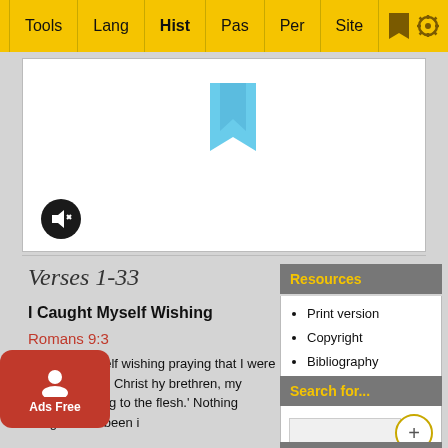Tools | Lang | Hist | Pas | Per | Site
[Figure (screenshot): Media player box with blue bookmark icon and mute button]
Verses 1-33
I Caught Myself Wishing
Romans 9:3
'I caught myself wishing praying that I were accursed from Christ hy brethren, my kinsmen ording to the flesh.' Nothing brings Paul t been i
Resources
Print version
Copyright
Bibliography
Search for...